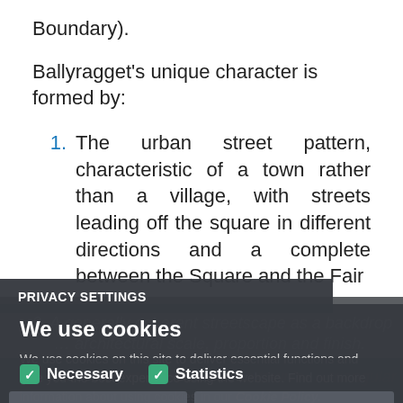Boundary).
Ballyragget's unique character is formed by:
1. The urban street pattern, characteristic of a town rather than a village, with streets leading off the square in different directions and a complete between the Square and the Fair Green.
2. A generally coherent streetscape as a backdrop ... architectural scale, proportion and finish.
3. The connection between the town's triangular shaped Main Square.
PRIVACY SETTINGS
We use cookies
We use cookies on this site to deliver essential functions and give you the best experience using the website. Find out more information about using cookies in our Cookie Policy.
Necessary   Statistics
SAVE PREFERENCES   ACCEPT ALL COOKIES